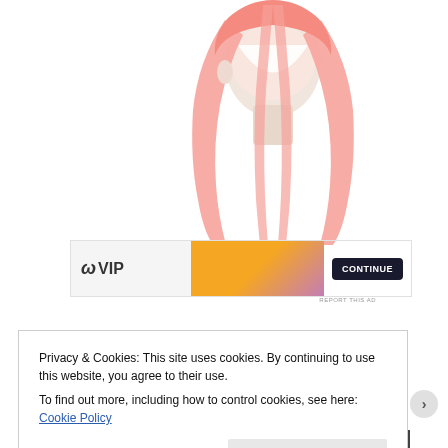[Figure (photo): A mannequin head wearing a long pink/coral straight wig, visible in the upper right portion of the page]
[Figure (screenshot): Advertisement banner showing 'W VIP' logo on the left, orange-to-purple gradient in the middle, and a dark call-to-action button on the right]
REPORT THIS AD
Privacy & Cookies: This site uses cookies. By continuing to use this website, you agree to their use.
To find out more, including how to control cookies, see here: Cookie Policy
Close and accept